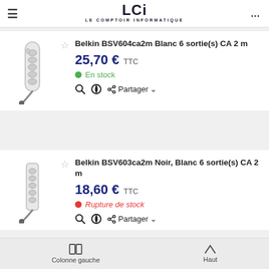LCI — LE COMPTOIR INFORMATIQUE
[Figure (photo): Belkin BSV604ca2m white power strip with 6 outlets and 2m cable]
Belkin BSV604ca2m Blanc 6 sortie(s) CA 2 m
25,70 € TTC
En stock
Partager
[Figure (photo): Belkin BSV603ca2m Noir Blanc power strip with 6 outlets and 2m cable]
Belkin BSV603ca2m Noir, Blanc 6 sortie(s) CA 2 m
18,60 € TTC
Rupture de stock
Partager
Colonne gauche   Haut